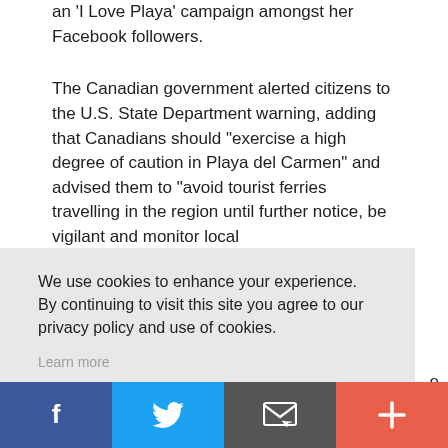an 'I Love Playa' campaign amongst her Facebook followers.
The Canadian government alerted citizens to the U.S. State Department warning, adding that Canadians should "exercise a high degree of caution in Playa del Carmen" and advised them to "avoid tourist ferries travelling in the region until further notice, be vigilant and monitor local
We use cookies to enhance your experience. By continuing to visit this site you agree to our privacy policy and use of cookies.
Learn more
OK
Facebook  Twitter  Email  More